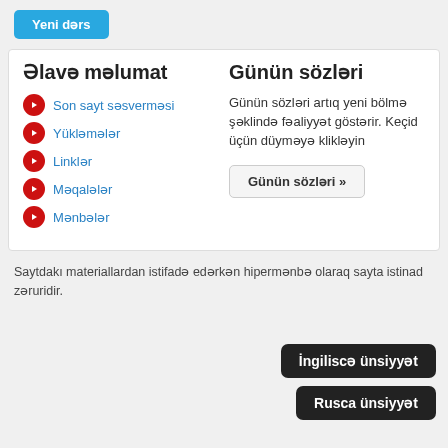Yeni dərs
Əlavə məlumat
Son sayt səsverməsi
Yükləmələr
Linklər
Məqalələr
Mənbələr
Günün sözləri
Günün sözləri artıq yeni bölmə şəklində fəaliyyət göstərir. Keçid üçün düyməyə klikləyin
Günün sözləri »
Saytdakı materiallardan istifadə edərkən hipermənbə olaraq sayta istinad zəruridir.
İngiliscə ünsiyyət
Rusca ünsiyyət